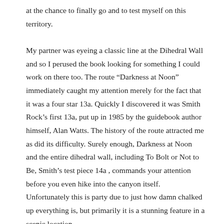at the chance to finally go and to test myself on this territory. My partner was eyeing a classic line at the Dihedral Wall and so I perused the book looking for something I could work on there too. The route “Darkness at Noon” immediately caught my attention merely for the fact that it was a four star 13a. Quickly I discovered it was Smith Rock’s first 13a, put up in 1985 by the guidebook author himself, Alan Watts. The history of the route attracted me as did its difficulty. Surely enough, Darkness at Noon and the entire dihedral wall, including To Bolt or Not to Be, Smith’s test piece 14a , commands your attention before you even hike into the canyon itself. Unfortunately this is party due to just how damn chalked up everything is, but primarily it is a stunning feature in a scenic location.